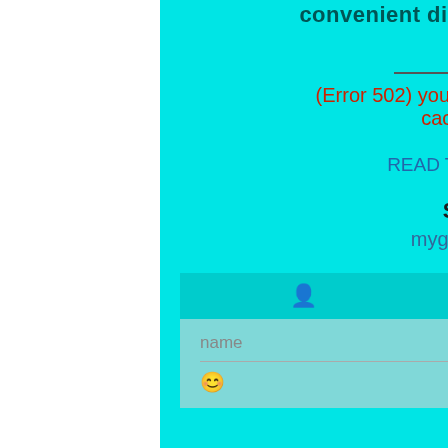convenient directory for convenience
Categories
(Error 502) you need to clear your browser cache and cookies
READ THE FAQ | Main Site
Site Mirrors
mygirls | Titty-Twister
name
message
XXX Tube
Amateur Girls
Slut wtf
femdomxxx.net
theprimefans.com
instacams.net
onlysiterip